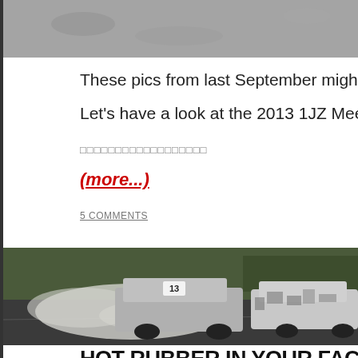[Figure (photo): Top portion of a gravel/asphalt surface photo, cropped at the top of the page]
These pics from last September might be a bit old, but
Let's have a look at the 2013 1JZ Meeting at Fuji Speed
日本語テキスト（読み取り不明）
(more...)
5 COMMENTS
[Figure (photo): Two drift cars on a race track, one with camouflage wrap livery, smoke visible from tires]
HOT RUBBER IN YOUR FACE: T
BY ALEXI IN ALEXI   VIDEO
21-05-2013 1:57 PM